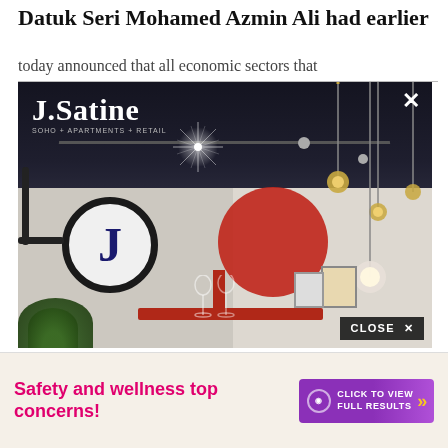Datuk Seri Mohamed Azmin Ali had earlier
today announced that all economic sectors that
[Figure (photo): J.Satine real estate advertisement overlay showing an interior room with dark ceiling, red circle accent, pendant lights, and illuminated J circular sign. Logo reads 'J.Satine SOHO + APARTMENTS + RETAIL'. Has a close (X) button top right and a CLOSE × button bottom right.]
Safety and wellness top concerns!
CLICK TO VIEW FULL RESULTS